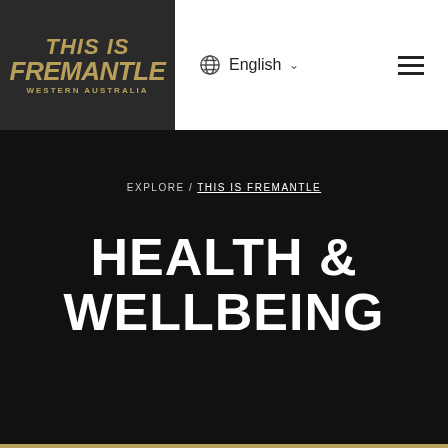[Figure (logo): This Is Fremantle Western Australia logo in gold text on dark background]
English ∨
EXPLORE / THIS IS FREMANTLE
HEALTH & WELLBEING